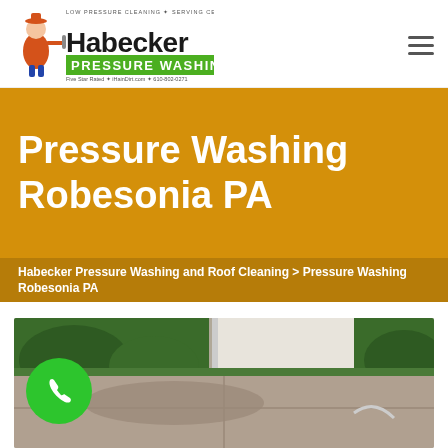[Figure (logo): Habecker Pressure Washing logo with cartoon mascot holding pressure washer, green accent bar, tagline LOW PRESSURE CLEANING - SERVING CENTRAL PA, Five Star Rated - iHainDirt.com - 610-802-0271]
Pressure Washing Robesonia PA
Habecker Pressure Washing and Roof Cleaning > Pressure Washing Robesonia PA
[Figure (photo): Driveway being pressure washed, concrete surface, green hedges in background, garage wall on right, pressure washing hose visible]
[Figure (other): Green circular phone call button with white phone handset icon]